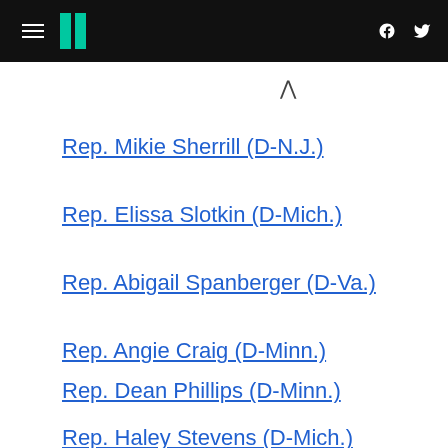HuffPost navigation header with hamburger menu, logo, Facebook and Twitter icons
Rep. Mikie Sherrill (D-N.J.)
Rep. Elissa Slotkin (D-Mich.)
Rep. Abigail Spanberger (D-Va.)
Rep. Angie Craig (D-Minn.)
Rep. Dean Phillips (D-Minn.)
Rep. Haley Stevens (D-Mich.)